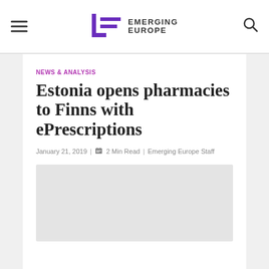Emerging Europe [logo with hamburger menu and search icon]
NEWS & ANALYSIS
Estonia opens pharmacies to Finns with ePrescriptions
January 21, 2019  |  2 Min Read  |  Emerging Europe Staff
[Figure (photo): Article featured image placeholder (light grey rectangle)]